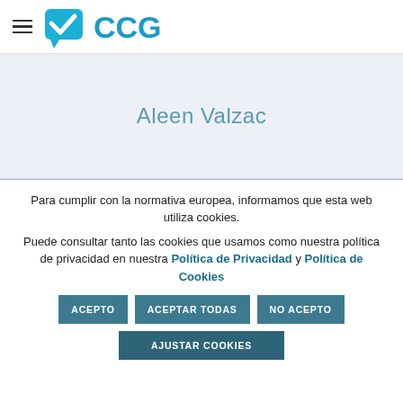[Figure (logo): CCG logo with blue checkmark icon and CCG text in blue]
Aleen Valzac
Para cumplir con la normativa europea, informamos que esta web utiliza cookies.
Puede consultar tanto las cookies que usamos como nuestra política de privacidad en nuestra Política de Privacidad y Política de Cookies
ACEPTO | ACEPTAR TODAS | NO ACEPTO | AJUSTAR COOKIES